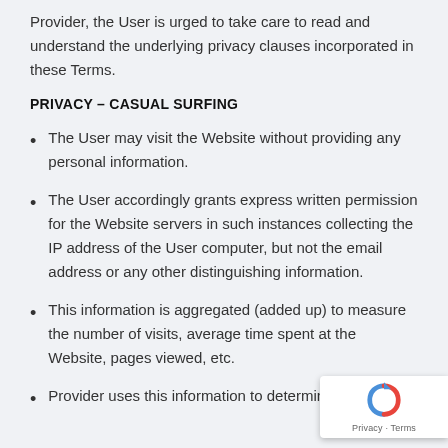Provider, the User is urged to take care to read and understand the underlying privacy clauses incorporated in these Terms.
PRIVACY – CASUAL SURFING
The User may visit the Website without providing any personal information.
The User accordingly grants express written permission for the Website servers in such instances collecting the IP address of the User computer, but not the email address or any other distinguishing information.
This information is aggregated (added up) to measure the number of visits, average time spent at the Website, pages viewed, etc.
Provider uses this information to determine